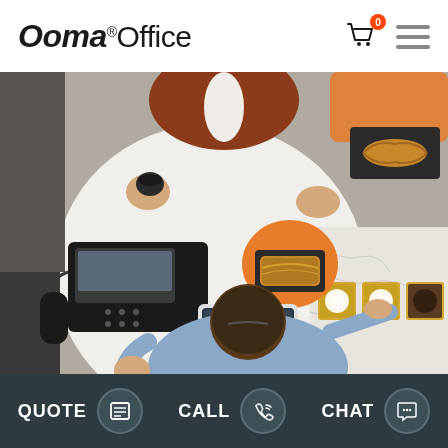Ooma Office
[Figure (photo): Overhead view of two people at a round white table with a desk phone, pastries on an orange plate, a tablet device, and baked goods on a marble counter. One person in a rust-colored jacket holds a coffee cup.]
QUOTE   CALL   CHAT